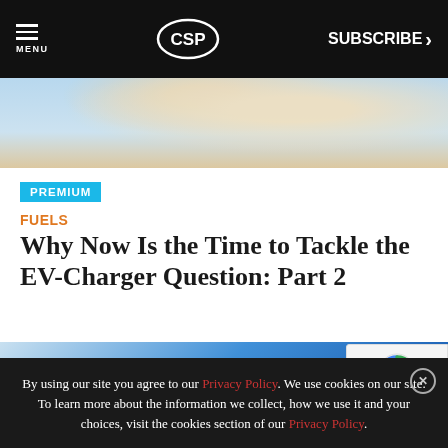MENU | CSP | SUBSCRIBE >
[Figure (photo): Top hero banner with light blue sky and partial floral/butterfly image]
PREMIUM
FUELS
Why Now Is the Time to Tackle the EV-Charger Question: Part 2
[Figure (photo): Blue EV charger connector plugged into a white electric vehicle]
By using our site you agree to our Privacy Policy. We use cookies on our site. To learn more about the information we collect, how we use it and your choices, visit the cookies section of our Privacy Policy.